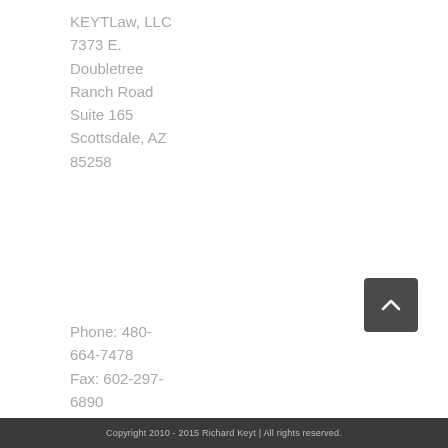KEYTLaw, LLC
7373 E.
Doubletree
Ranch Road
Suite 165
Scottsdale, AZ
85258
Phone: 480-664-7478
Fax: 602-297-6890
Email:
rk@keytlaw.com
Website:
KEYTLaw
Copyright 2010 - 2015 Richard Keyt | All rights reserved.